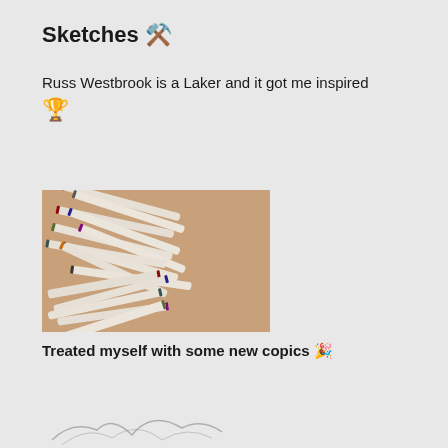Sketches 🪓
Russ Westbrook is a Laker and it got me inspired 🏆
[Figure (photo): Photo of numerous Copic markers/pens scattered and spread across a wooden surface, showing white markers with colored tips]
Treated myself with some new copics 🎉
[Figure (illustration): Partial sketch drawing visible at the bottom of the page]